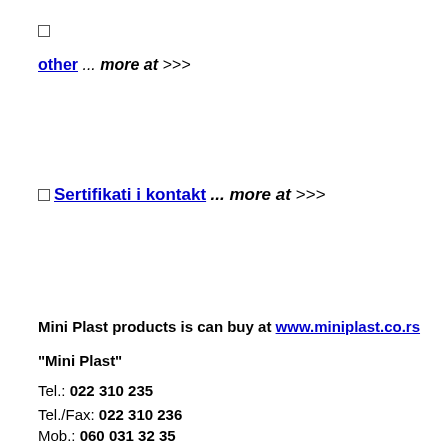□
other ... more at >>>
□ Sertifikati i kontakt ... more at >>>
Mini Plast products is can buy at www.miniplast.co.rs
"Mini Plast"
Tel.: 022 310 235
Tel./Fax: 022 310 236
Mob.: 060 031 32 35